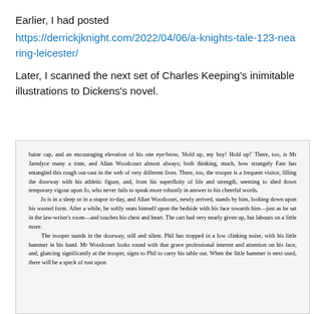Earlier, I had posted
https://derrickjknight.com/2022/04/06/a-knights-tale-123-nearing-leicester/
Later, I scanned the next set of Charles Keeping's inimitable illustrations to Dickens's novel.
[Figure (screenshot): Scanned page of text from Dickens's novel, showing a passage about Jo in a stupor, Allan Woodcourt, Phil, and the trooper standing in the doorway.]